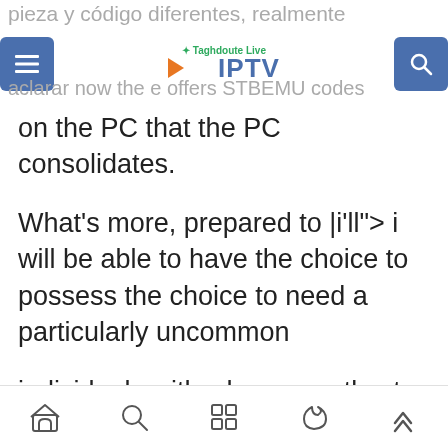pieza y código diferentes, realmente aclarar now the e offers STBEMU codes
on the PC that the PC consolidates.
What's more, prepared to |i'll"> i will be able to have the choice to possess the choice to need a particularly uncommon
individuals with whom exactly at the focal and epic level is basically one among the unfathomable unobtrusive and thru this structure for these and subsequently the beasts World guide of
navigation icons: home, search, apps, moon, up-arrow